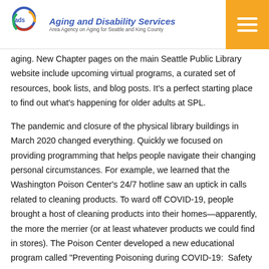Aging and Disability Services — Area Agency on Aging for Seattle and King County
aging. New Chapter pages on the main Seattle Public Library website include upcoming virtual programs, a curated set of resources, book lists, and blog posts. It's a perfect starting place to find out what's happening for older adults at SPL.
The pandemic and closure of the physical library buildings in March 2020 changed everything. Quickly we focused on providing programming that helps people navigate their changing personal circumstances. For example, we learned that the Washington Poison Center's 24/7 hotline saw an uptick in calls related to cleaning products. To ward off COVID-19, people brought a host of cleaning products into their homes—apparently, the more the merrier (or at least whatever products we could find in stores). The Poison Center developed a new educational program called "Preventing Poisoning during COVID-19: Safety Tips with Cleaners, Medications & More." This program was exactly the type of information that SPL could offer to be responsive to emerging